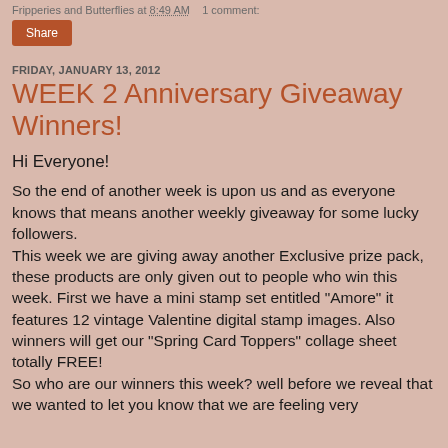Fripperies and Butterflies at 8:49 AM   1 comment:
Share
FRIDAY, JANUARY 13, 2012
WEEK 2 Anniversary Giveaway Winners!
Hi Everyone!
So the end of another week is upon us and as everyone knows that means another weekly giveaway for some lucky followers.
This week we are giving away another Exclusive prize pack, these products are only given out to people who win this week. First we have a mini stamp set entitled "Amore" it features 12 vintage Valentine digital stamp images. Also winners will get our "Spring Card Toppers" collage sheet totally FREE!
So who are our winners this week? well before we reveal that we wanted to let you know that we are feeling very